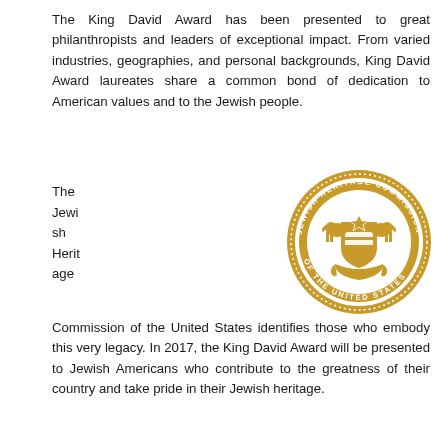The King David Award has been presented to great philanthropists and leaders of exceptional impact. From varied industries, geographies, and personal backgrounds, King David Award laureates share a common bond of dedication to American values and to the Jewish people.
The Jewish Heritage Commission of the United States identifies those who embody this very legacy. In 2017, the King David Award will be presented to Jewish Americans who contribute to the greatness of their country and take pride in their Jewish heritage.
[Figure (logo): Circular seal of the Jewish Heritage Commission of the United States, gold on white, featuring two lions flanking a shield with the Star of David and stripes, with text around the border reading JEWISH HERITAGE COMMISSION OF THE UNITED STATES.]